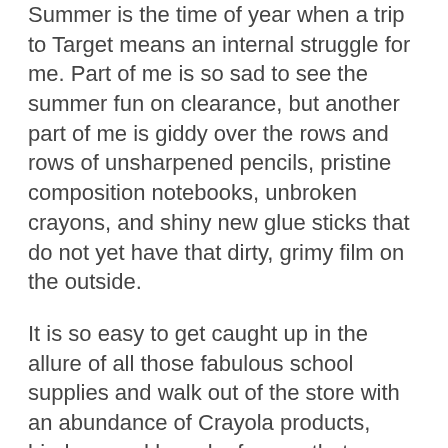Summer is the time of year when a trip to Target means an internal struggle for me. Part of me is so sad to see the summer fun on clearance, but another part of me is giddy over the rows and rows of unsharpened pencils, pristine composition notebooks, unbroken crayons, and shiny new glue sticks that do not yet have that dirty, grimy film on the outside.
It is so easy to get caught up in the allure of all those fabulous school supplies and walk out of the store with an abundance of Crayola products, binders, and looseleaf paper that you don't need. Let's face it. It's hard to walk out of Target, or a similar store, empty-handed on a good day. When everything is being offered up for a quarter, you just don't stand a chance. Or do you? Below are 10 tips for not overstocking or overspending on school supplies.